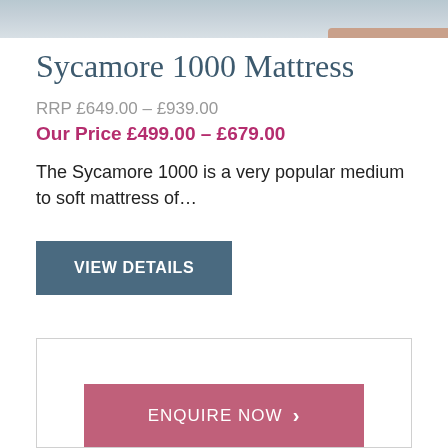[Figure (photo): Top portion of a mattress product photo showing bedding/fabric]
Sycamore 1000 Mattress
RRP £649.00 – £939.00
Our Price £499.00 – £679.00
The Sycamore 1000 is a very popular medium to soft mattress of…
[Figure (other): VIEW DETAILS button — steel blue rectangle]
[Figure (other): Bottom card with ENQUIRE NOW pink button]